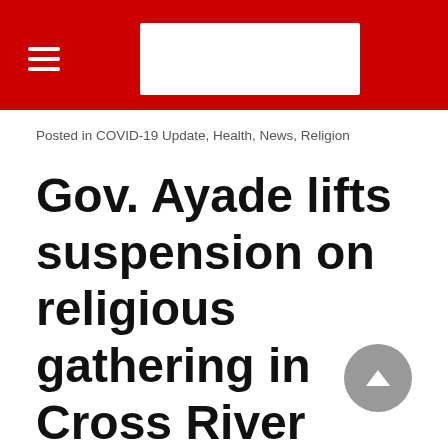COVID-19 Update, Health, News, Religion — Navigation menu and site logo
Posted in COVID-19 Update, Health, News, Religion
Gov. Ayade lifts suspension on religious gathering in Cross River